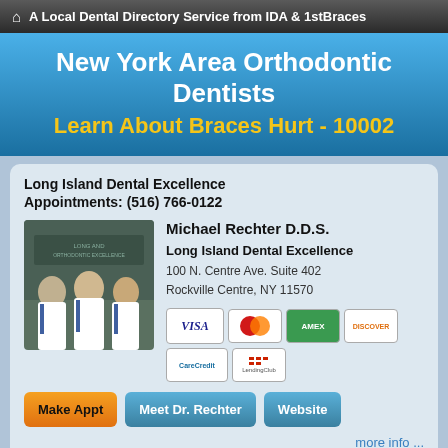A Local Dental Directory Service from IDA & 1stBraces
New York Area Orthodontic Dentists
Learn About Braces Hurt - 10002
Long Island Dental Excellence
Appointments: (516) 766-0122
[Figure (photo): Three dentists in white lab coats standing in front of a Long Island Dental Excellence sign]
Michael Rechter D.D.S.
Long Island Dental Excellence
100 N. Centre Ave. Suite 402
Rockville Centre, NY 11570
[Figure (other): Payment method icons: VISA, MasterCard, Amex, Discover, CareCredit, LendingClub]
Make Appt   Meet Dr. Rechter   Website
more info ...
Long Island Dental Excellence